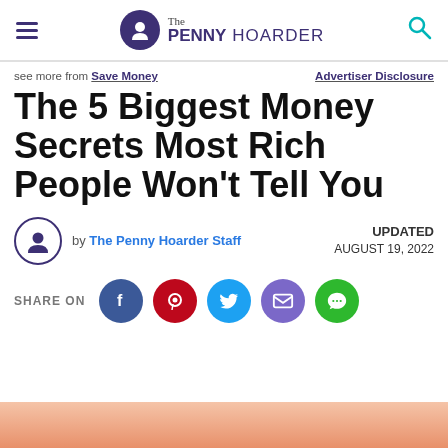The Penny Hoarder
see more from Save Money   Advertiser Disclosure
The 5 Biggest Money Secrets Most Rich People Won't Tell You
by The Penny Hoarder Staff   UPDATED AUGUST 19, 2022
SHARE ON
[Figure (photo): Partial bottom strip showing a photo of hands/person, cropped at bottom of page]